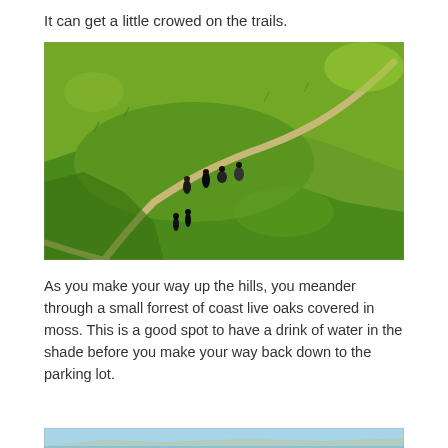It can get a little crowed on the trails.
[Figure (photo): Aerial view of a winding dirt trail through green grassy hills, with several hikers and mountain bikers visible on the path.]
As you make your way up the hills, you meander through a small forrest of coast live oaks covered in moss. This is a good spot to have a drink of water in the shade before you make your way back down to the parking lot.
[Figure (photo): Partial view of a coastal scene with blue sky and water, cut off at the bottom of the page.]